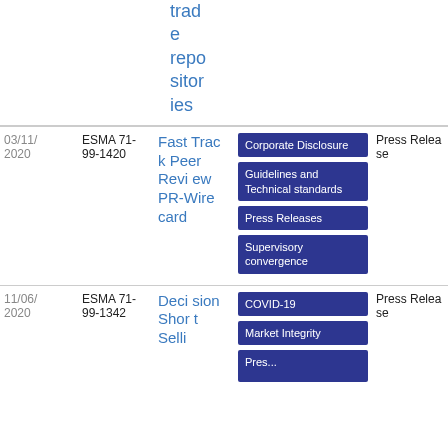trade repositories
| Date | Reference | Title | Tags | Type | PDF |
| --- | --- | --- | --- | --- | --- |
| 03/11/2020 | ESMA 71-99-1420 | Fast Track Peer Review PR-Wirecard | Corporate Disclosure; Guidelines and Technical standards; Press Releases; Supervisory convergence | Press Release | PDF 137.39 KB |
| 11/06/2020 | ESMA 71-99-1342 | Decision Short Selling | COVID-19; Market Integrity; Press... | Press Release | PDF 83.55 KB |